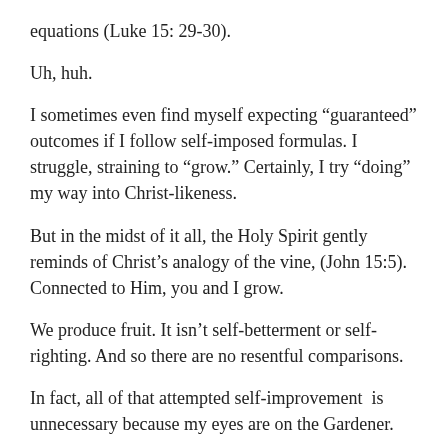equations (Luke 15: 29-30).
Uh, huh.
I sometimes even find myself expecting “guaranteed” outcomes if I follow self-imposed formulas. I struggle, straining to “grow.” Certainly, I try “doing” my way into Christ-likeness.
But in the midst of it all, the Holy Spirit gently reminds of Christ’s analogy of the vine, (John 15:5). Connected to Him, you and I grow.
We produce fruit. It isn’t self-betterment or self-righting. And so there are no resentful comparisons.
In fact, all of that attempted self-improvement  is unnecessary because my eyes are on the Gardener.
I can’t work my way into Christian maturity.